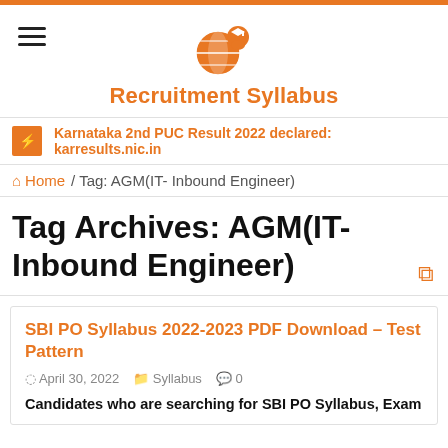Recruitment Syllabus
Karnataka 2nd PUC Result 2022 declared: karresults.nic.in
Home / Tag: AGM(IT- Inbound Engineer)
Tag Archives: AGM(IT- Inbound Engineer)
SBI PO Syllabus 2022-2023 PDF Download – Test Pattern
April 30, 2022   Syllabus   0
Candidates who are searching for SBI PO Syllabus, Exam